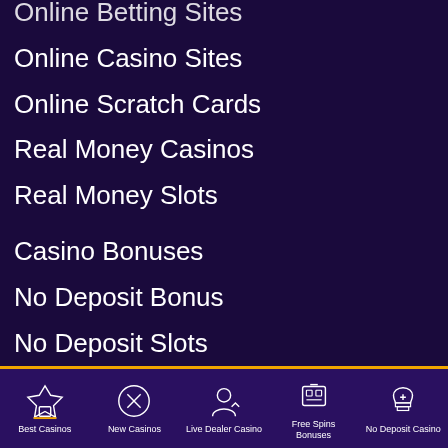Online Betting Sites (partial, cut off at top)
Online Casino Sites
Online Scratch Cards
Real Money Casinos
Real Money Slots
Casino Bonuses
No Deposit Bonus
No Deposit Slots
Free Bets
Free Spins
Free Spins On Card Registration
Free Bets Card (partial, cut off at bottom)
Best Casinos | New Casinos | Live Dealer Casino | Free Spins Bonuses | No Deposit Casino